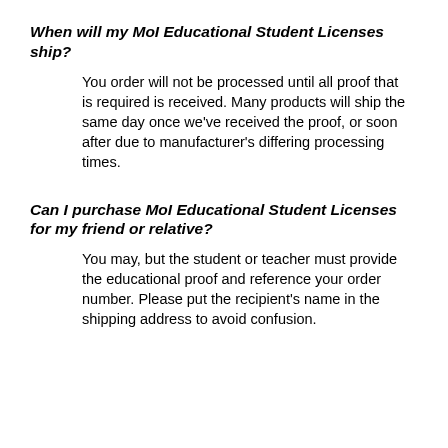When will my MoI Educational Student Licenses ship?
You order will not be processed until all proof that is required is received. Many products will ship the same day once we've received the proof, or soon after due to manufacturer's differing processing times.
Can I purchase MoI Educational Student Licenses for my friend or relative?
You may, but the student or teacher must provide the educational proof and reference your order number. Please put the recipient's name in the shipping address to avoid confusion.